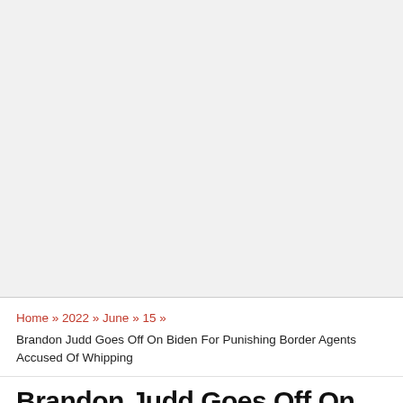[Figure (other): Large grey/light background placeholder area at the top of the page, representing an image or advertisement block]
Home » 2022 » June » 15 »
Brandon Judd Goes Off On Biden For Punishing Border Agents Accused Of Whipping
Brandon Judd Goes Off On